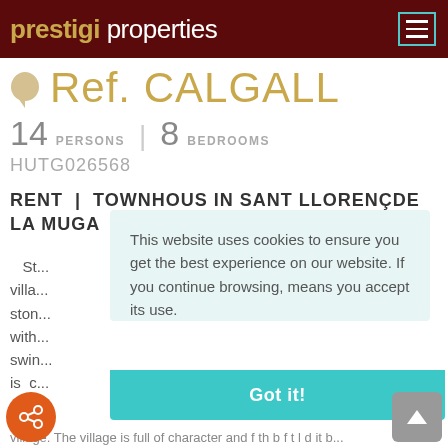prestigi properties
Ref. CALGALL
14 PERSONS | 8 BEDROOMS
HUTG026568
RENT | TOWNHOUS IN SANT LLORENç DE LA MUGA
S... villa... ston... with... swin... is c... cour...
This website uses cookies to ensure you get the best experience on our website. If you continue browsing, means you accept its use.
Got it!
village. The village is full of character and f... th... b... f... t... l... d... it b...